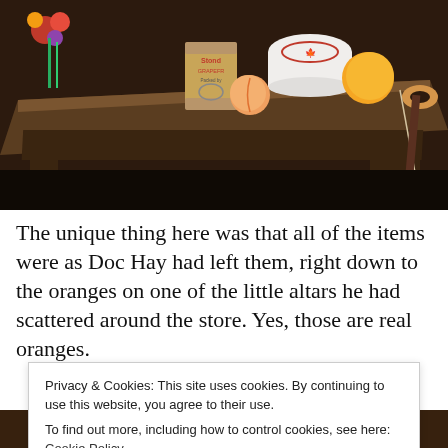[Figure (photo): Photograph of an old wooden shelf or altar with vintage canned goods (Stondl Grapefruit can), a white enamel bowl, fruits including oranges and a peach, and other items, in a dark room setting.]
The unique thing here was that all of the items were as Doc Hay had left them, right down to the oranges on one of the little altars he had scattered around the store.  Yes, those are real oranges.
Privacy & Cookies: This site uses cookies. By continuing to use this website, you agree to their use.
To find out more, including how to control cookies, see here: Cookie Policy
Close and accept
[Figure (photo): Bottom portion of another photograph partially visible.]